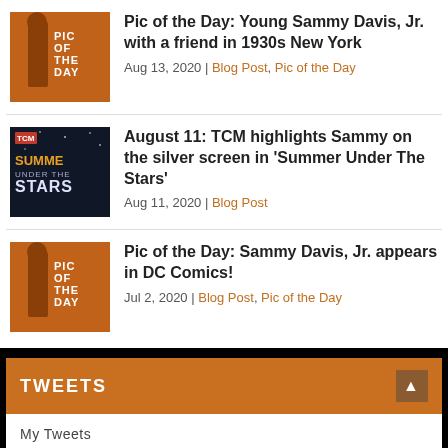Pic of the Day: Young Sammy Davis, Jr. with a friend in 1930s New York
Aug 13, 2020 | Blog Post, Pic of the Day
August 11: TCM highlights Sammy on the silver screen in ‘Summer Under The Stars’
Aug 11, 2020 | Blog Post
Pic of the Day: Sammy Davis, Jr. appears in DC Comics!
Jul 2, 2020 | Blog Post, Pic of the Day
TWEETS
My Tweets
ABOUT